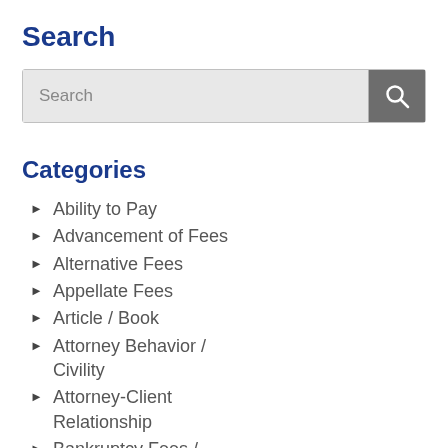Search
[Figure (other): Search input box with magnifying glass icon button]
Categories
Ability to Pay
Advancement of Fees
Alternative Fees
Appellate Fees
Article / Book
Attorney Behavior / Civility
Attorney-Client Relationship
Bankruptcy Fees / Expenses